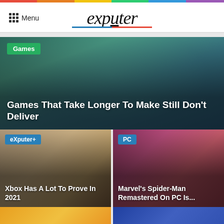Menu | exputer
[Figure (photo): Featured article image: dark cyberpunk cityscape with teal and blue tones, overlaid with category badge 'Games' and title 'Games That Take Longer To Make Still Don't Deliver']
[Figure (photo): Card image left: Xbox console on warm golden/brown background, overlaid with badge 'eXputer+' and title 'Xbox Has A Lot To Prove In 2021']
[Figure (photo): Card image right: Spider-Man/gaming scene with red-purple tones, overlaid with badge 'PC' and title 'Marvel’s Spider-Man Remastered On PC Is...']
[Figure (photo): Bottom partial card left: warm orange/yellow tones]
[Figure (photo): Bottom partial card right: dark blue tones]